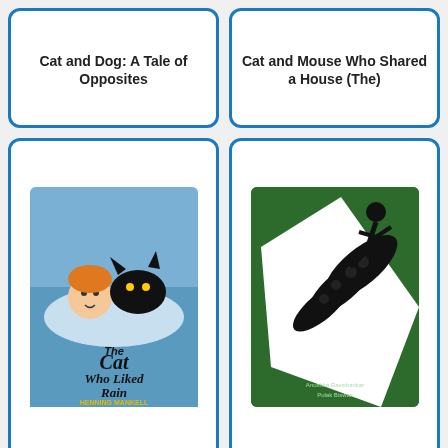[Figure (illustration): Book cover: Cat and Dog: A Tale of Opposites]
Cat and Dog: A Tale of Opposites
[Figure (illustration): Book cover: Cat and Mouse Who Shared a House (The)]
Cat and Mouse Who Shared a House (The)
[Figure (illustration): Book cover: The Cat Who Liked Rain by Henning Mankell]
Cat Who Liked Rain (The)
[Figure (illustration): Book cover: Catch that Crocodile! - green cover with black and white crocodile illustration]
Catch that Crocodile!
[Figure (illustration): Book cover: Cats' Tales by Eleonore Schmid]
[Figure (illustration): Book cover: partially visible, yellow border children's book]